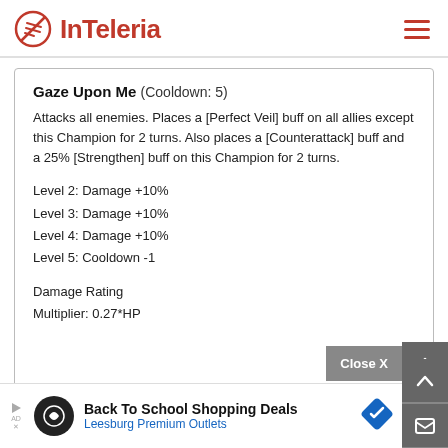InTeleria
Gaze Upon Me (Cooldown: 5)
Attacks all enemies. Places a [Perfect Veil] buff on all allies except this Champion for 2 turns. Also places a [Counterattack] buff and a 25% [Strengthen] buff on this Champion for 2 turns.
Level 2: Damage +10%
Level 3: Damage +10%
Level 4: Damage +10%
Level 5: Cooldown -1
Damage Rating
Multiplier: 0.27*HP
Close X
Back To School Shopping Deals
Leesburg Premium Outlets